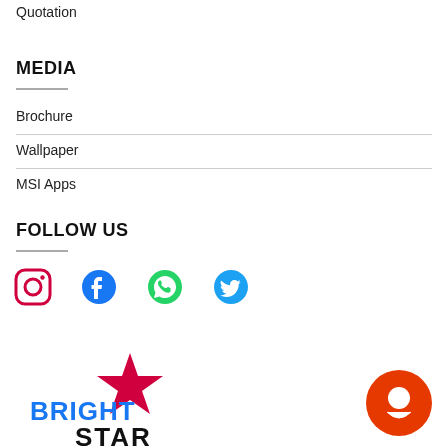Quotation
MEDIA
Brochure
Wallpaper
MSI Apps
FOLLOW US
[Figure (infographic): Social media icons: Instagram (red), Facebook (blue), WhatsApp (green), Twitter (blue)]
[Figure (logo): Bright Star logo with red star and blue text]
[Figure (other): Orange chat bubble icon in bottom right corner]